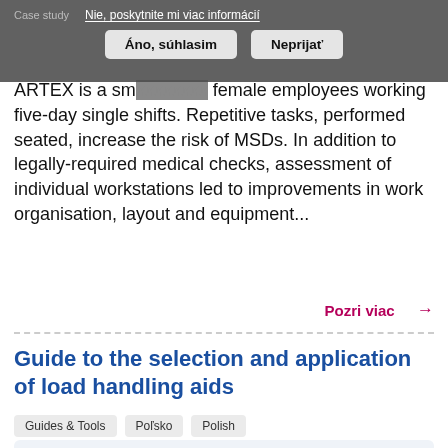Case study | Nie, poskytnite mi viac informácií
Áno, súhlasim   Neprijať
ARTEX is a sm... female employees working five-day single shifts. Repetitive tasks, performed seated, increase the risk of MSDs. In addition to legally-required medical checks, assessment of individual workstations led to improvements in work organisation, layout and equipment...
Pozri viac →
Guide to the selection and application of load handling aids
Guides & Tools   Poľsko   Polish
The Central Institute for Labour Protection – National Research Institute (CIOP-PIB)